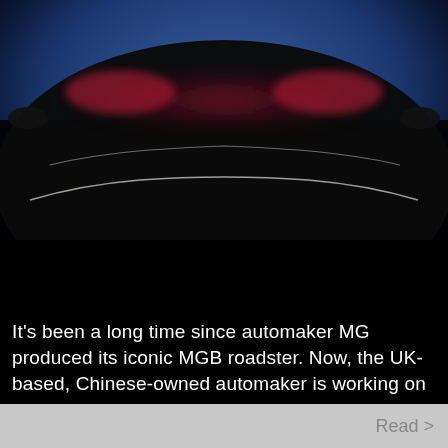[Figure (photo): Teaser image of a dark car (MG sports car) shot from the front, mostly in silhouette against a blue background, with faint red/pink glow from the headlights and white outline of the front bumper visible.]
It's been a long time since automaker MG produced its iconic MGB roadster. Now, the UK-based, Chinese-owned automaker is working on a new 2-seat …
Read >